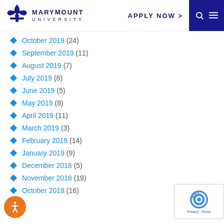Marymount University — Apply Now
October 2019 (24)
September 2019 (11)
August 2019 (7)
July 2019 (8)
June 2019 (5)
May 2019 (8)
April 2019 (11)
March 2019 (3)
February 2019 (14)
January 2019 (9)
December 2018 (5)
November 2018 (19)
October 2018 (16)